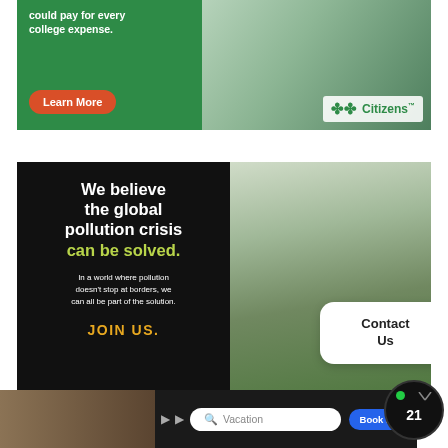[Figure (screenshot): Citizens Bank advertisement with green background, 'could pay for every college expense.' tagline, 'Learn More' orange button, woman with papers photo, and Citizens Bank logo]
[Figure (screenshot): Environmental organization advertisement with black left panel reading 'We believe the global pollution crisis can be solved.' with yellow-green text, body text 'In a world where pollution doesn't stop at borders, we can all be part of the solution.' and 'JOIN US.' in gold. Right side shows man in hard hat with plant. White 'Contact Us' bubble overlay.]
[Figure (screenshot): Travel/vacation advertisement banner with dark background, vacation search bar, 'Book Now' blue button, and pay-per-view TV21 logo bubble.]